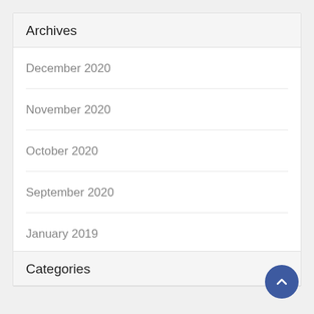Archives
December 2020
November 2020
October 2020
September 2020
January 2019
Categories